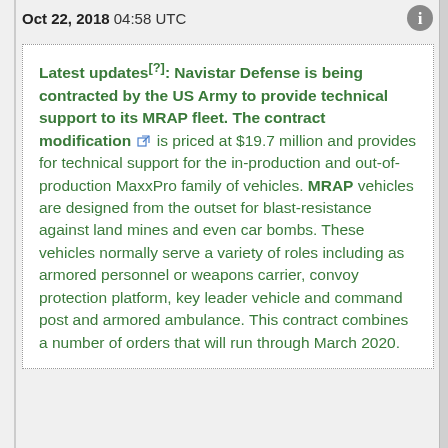Oct 22, 2018 04:58 UTC
Latest updates[?]: Navistar Defense is being contracted by the US Army to provide technical support to its MRAP fleet. The contract modification is priced at $19.7 million and provides for technical support for the in-production and out-of-production MaxxPro family of vehicles. MRAP vehicles are designed from the outset for blast-resistance against land mines and even car bombs. These vehicles normally serve a variety of roles including as armored personnel or weapons carrier, convoy protection platform, key leader vehicle and command post and armored ambulance. This contract combines a number of orders that will run through March 2020.